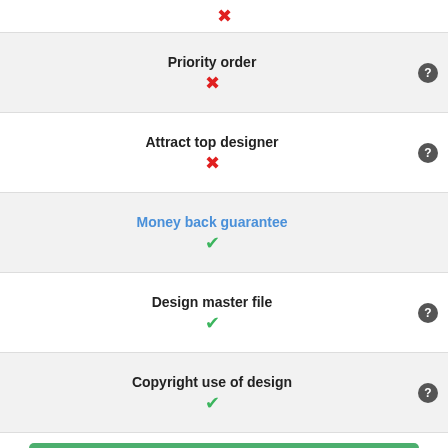✗ (top partial row)
Priority order ✗
Attract top designer ✗
Money back guarantee ✓
Design master file ✓
Copyright use of design ✓
Select Package